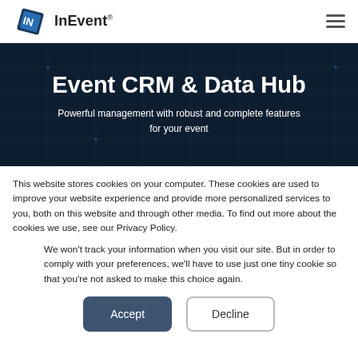InEvent®
[Figure (screenshot): InEvent logo with blue diamond-shaped icon and text 'InEvent®']
Event CRM & Data Hub
Powerful management with robust and complete features for your event
This website stores cookies on your computer. These cookies are used to improve your website experience and provide more personalized services to you, both on this website and through other media. To find out more about the cookies we use, see our Privacy Policy.
We won't track your information when you visit our site. But in order to comply with your preferences, we'll have to use just one tiny cookie so that you're not asked to make this choice again.